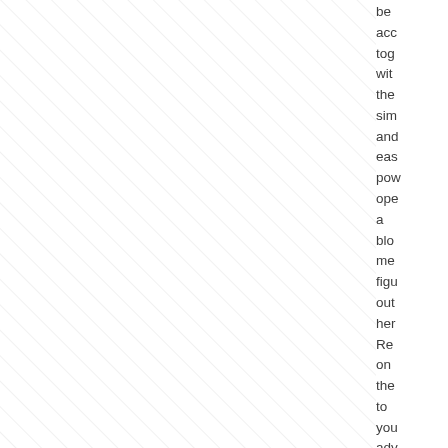[Figure (illustration): Diagonal hatched/striped pattern covering the left portion of the page, light gray diagonal lines on white background]
be
acc
tog
wit
the
sim
and
eas
pow
ope
a
blo
me
figu
out
her
Re
on
the
to
you
adv
and
sta
righ